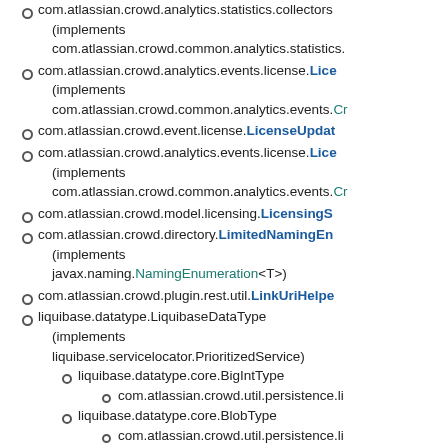com.atlassian.crowd.analytics.statistics.collectors (implements com.atlassian.crowd.common.analytics.statistics.
com.atlassian.crowd.analytics.events.license.LicenseEvent (implements com.atlassian.crowd.common.analytics.events.Cr
com.atlassian.crowd.event.license.LicenseUpdateEvent
com.atlassian.crowd.analytics.events.license.LicenseEvent (implements com.atlassian.crowd.common.analytics.events.Cr
com.atlassian.crowd.model.licensing.LicensingS
com.atlassian.crowd.directory.LimitedNamingEn (implements javax.naming.NamingEnumeration<T>)
com.atlassian.crowd.plugin.rest.util.LinkUriHelpe
liquibase.datatype.LiquibaseDataType (implements liquibase.servicelocator.PrioritizedService)
liquibase.datatype.core.BigIntType
com.atlassian.crowd.util.persistence.li
liquibase.datatype.core.BlobType
com.atlassian.crowd.util.persistence.li
liquibase.datatype.core.ClobType
com.atlassian.crowd.util.persistence.li
liquibase.datatype.core.DoubleType
com.atlassian.crowd.util.persistence.li
com.atlassian.crowd.util.persistence.liquibase
com.atlassian.crowd.util.persistence.li
com.atlassian.crowd.util.persistence.